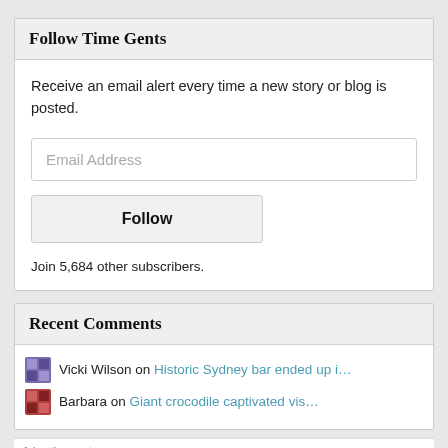Follow Time Gents
Receive an email alert every time a new story or blog is posted.
Email Address
Follow
Join 5,684 other subscribers.
Recent Comments
Vicki Wilson on Historic Sydney bar ended up i…
Barbara on Giant crocodile captivated vis…
[Figure (screenshot): Advertisement banner with WordPress VIP logo and 'Learn more' button on a colorful background]